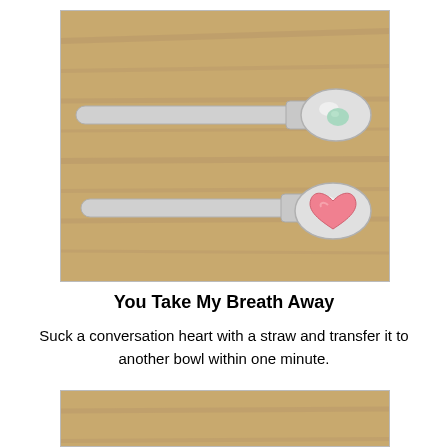[Figure (photo): Two silver spoons on a wooden surface. The top spoon has a small light blue/mint candy heart on it. The bottom spoon has a large pink candy heart on it.]
You Take My Breath Away
Suck a conversation heart with a straw and transfer it to another bowl within one minute.
[Figure (photo): Two white scalloped paper cupcake liners/bowls on a wooden surface. The left one is empty and the right one contains several small colorful candy hearts.]